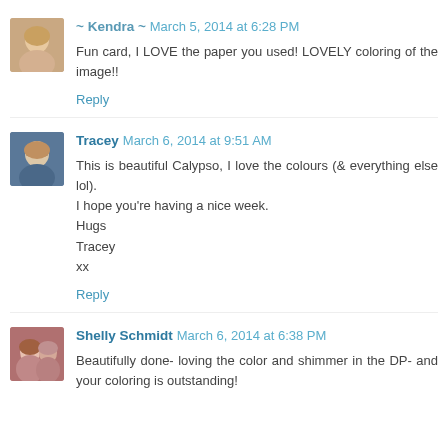[Figure (photo): Avatar photo of Kendra, a woman with light hair]
~ Kendra ~ March 5, 2014 at 6:28 PM
Fun card, I LOVE the paper you used! LOVELY coloring of the image!!
Reply
[Figure (photo): Avatar photo of Tracey, a woman with sunglasses outdoors]
Tracey March 6, 2014 at 9:51 AM
This is beautiful Calypso, I love the colours (& everything else lol).
I hope you're having a nice week.
Hugs
Tracey
xx
Reply
[Figure (photo): Avatar photo of Shelly Schmidt, a woman with another person]
Shelly Schmidt March 6, 2014 at 6:38 PM
Beautifully done- loving the color and shimmer in the DP- and your coloring is outstanding!